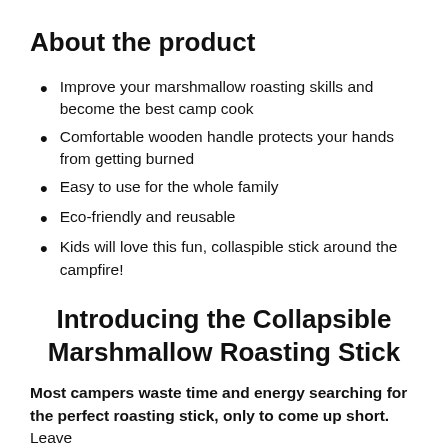About the product
Improve your marshmallow roasting skills and become the best camp cook
Comfortable wooden handle protects your hands from getting burned
Easy to use for the whole family
Eco-friendly and reusable
Kids will love this fun, collaspible stick around the campfire!
Introducing the Collapsible Marshmallow Roasting Stick
Most campers waste time and energy searching for the perfect roasting stick, only to come up short. Leave